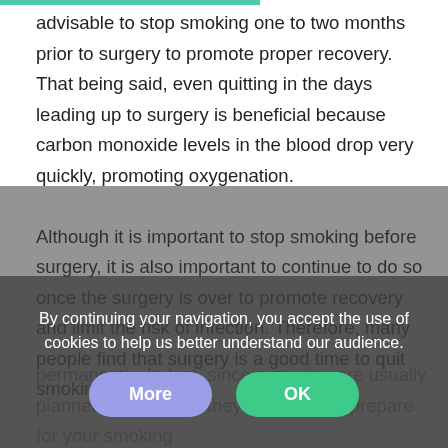advisable to stop smoking one to two months prior to surgery to promote proper recovery. That being said, even quitting in the days leading up to surgery is beneficial because carbon monoxide levels in the blood drop very quickly, promoting oxygenation.

Although it is important to stop smoking before surgery, it is also important to continue to do so once the surgery is over to promote recovery and limit the risk of infection. Therefore, many people find that surgery is a good time to quit smoking permanently. In fact, since surgeries are usually planned in advance, they allow you to prepare for your smoking
By continuing your navigation, you accept the use of cookies to help us better understand our audience.